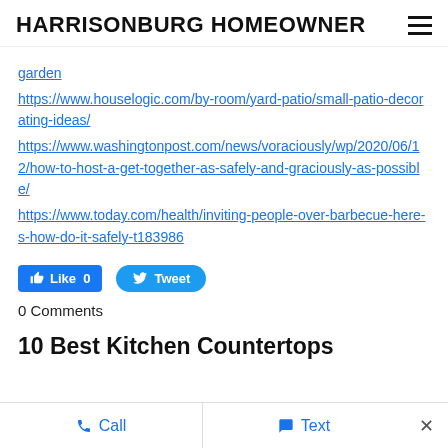HARRISONBURG HOMEOWNER
garden
https://www.houselogic.com/by-room/yard-patio/small-patio-decorating-ideas/
https://www.washingtonpost.com/news/voraciously/wp/2020/06/12/how-to-host-a-get-together-as-safely-and-graciously-as-possible/
https://www.today.com/health/inviting-people-over-barbecue-here-s-how-do-it-safely-t183986
[Figure (other): Facebook Like button (0 likes) and Twitter Tweet button]
0 Comments
10 Best Kitchen Countertops
Call   Text   ×